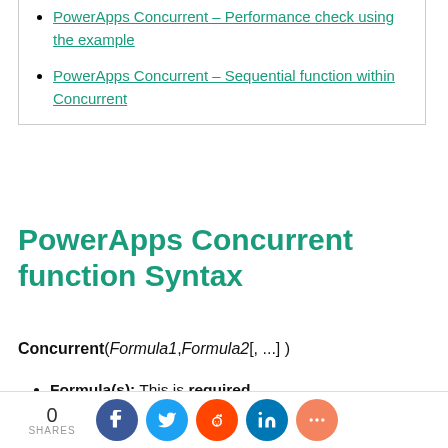PowerApps Concurrent – Performance check using the example
PowerApps Concurrent – Sequential function within Concurrent
PowerApps Concurrent function Syntax
Formula(s): This is required.
0 SHARES